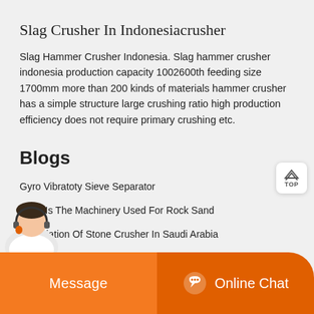Slag Crusher In Indonesiacrusher
Slag Hammer Crusher Indonesia. Slag hammer crusher indonesia production capacity 1002600th feeding size 1700mm more than 200 kinds of materials hammer crusher has a simple structure large crushing ratio high production efficiency does not require primary crushing etc.
Blogs
Gyro Vibratoty Sieve Separator
What Is The Machinery Used For Rock Sand
Association Of Stone Crusher In Saudi Arabia
one Crusher Broken    Pb Zn Mines In Ishiagu